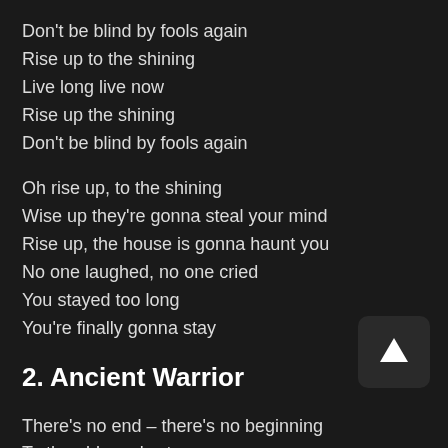Don't be blind by fools again
Rise up to the shining
Live long live now
Rise up the shining
Don't be blind by fools again
Oh rise up, to the shining
Wise up they're gonna steal your mind
Rise up, the house is gonna haunt you
No one laughed, no one cried
You stayed too long
You're finally gonna stay
2. Ancient Warrior
There's no end – there's no beginning
To the old man's story